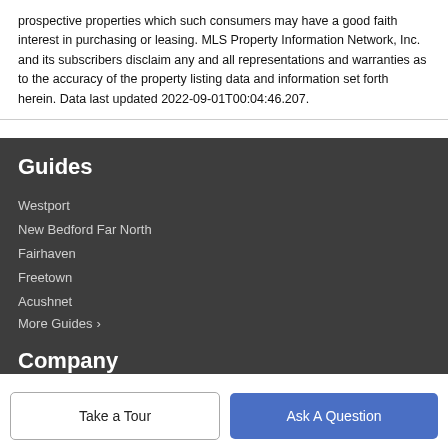prospective properties which such consumers may have a good faith interest in purchasing or leasing. MLS Property Information Network, Inc. and its subscribers disclaim any and all representations and warranties as to the accuracy of the property listing data and information set forth herein. Data last updated 2022-09-01T00:04:46.207.
Guides
Westport
New Bedford Far North
Fairhaven
Freetown
Acushnet
More Guides >
Company